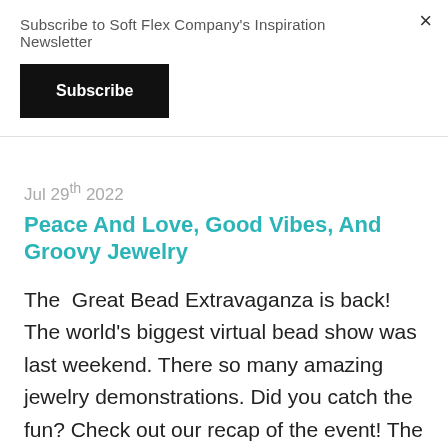Subscribe to Soft Flex Company's Inspiration Newsletter
Subscribe
×
Jul 29th 2022
Peace And Love, Good Vibes, And Groovy Jewelry
The Great Bead Extravaganza is back! The world's biggest virtual bead show was last weekend. There so many amazing jewelry demonstrations. Did you catch the fun? Check out our recap of the event! The creative energy didn't stop after the big bead show. This week